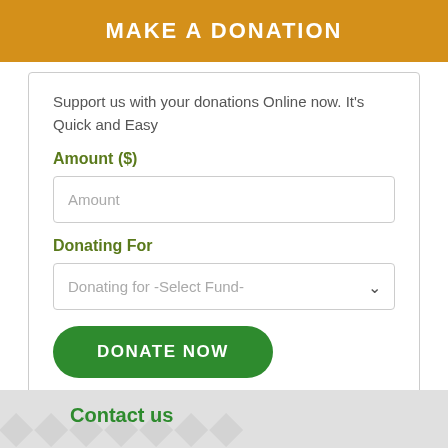MAKE A DONATION
Support us with your donations Online now. It's Quick and Easy
Amount ($)
Amount
Donating For
Donating for -Select Fund-
DONATE NOW
Contact us